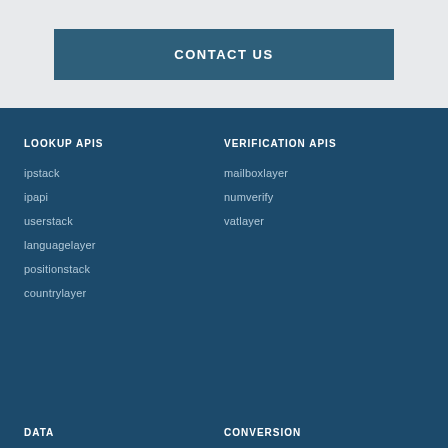CONTACT US
LOOKUP APIS
ipstack
ipapi
userstack
languagelayer
positionstack
countrylayer
VERIFICATION APIS
mailboxlayer
numverify
vatlayer
DATA
CONVERSION